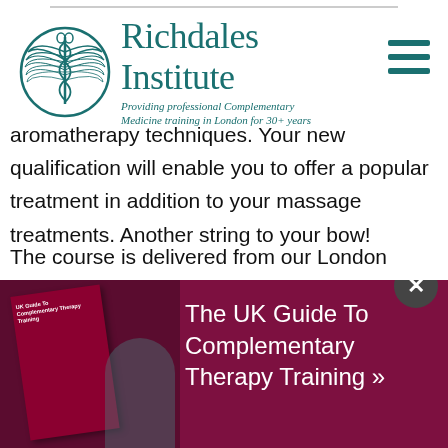[Figure (logo): Richdales Institute logo with caduceus-style emblem and teal text. Tagline: Providing professional Complementary Medicine training in London for 30+ years]
aromatherapy techniques. Your new qualification will enable you to offer a popular treatment in addition to your massage treatments. Another string to your bow!
The course is delivered from our London training venues and will give you confidence in explaining the taxonomy, nomenclature, significant chemical constituents, therapeutic actions, most beneficial methods of use and safety data for [5]0 essential oils. You'll be fully able to blend essential
[Figure (infographic): Dark maroon popup banner with book image on left showing 'UK Guide To Complementary Therapy Training' and white text on right reading 'The UK Guide To Complementary Therapy Training »'. Close button in top right.]